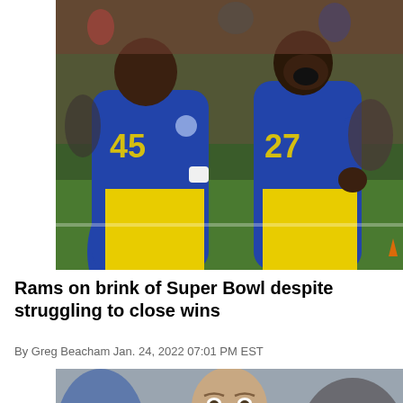[Figure (photo): Two Los Angeles Rams football players in blue and yellow uniforms celebrating on a green field, one wearing number 45 (partially visible jersey text), the other wearing number 27, with stadium crowd in background]
Rams on brink of Super Bowl despite struggling to close wins
By Greg Beacham Jan. 24, 2022 07:01 PM EST
[Figure (photo): Bald man with beard in blue clothing, appears to be a coach or team staff member, photographed in an indoor arena/stadium setting with blurred figures in background]